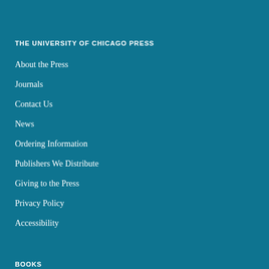THE UNIVERSITY OF CHICAGO PRESS
About the Press
Journals
Contact Us
News
Ordering Information
Publishers We Distribute
Giving to the Press
Privacy Policy
Accessibility
BOOKS